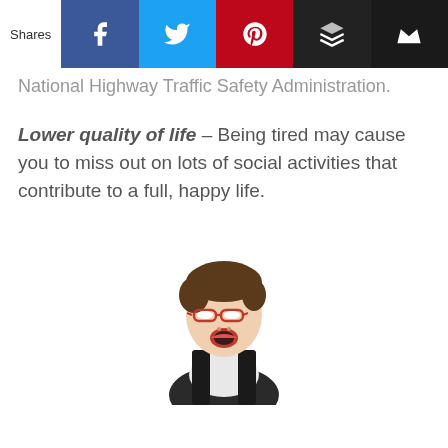Shares [social share bar with Facebook, Twitter, Pinterest, Buffer, Feather icons]
National Highway Traffic Safety Administration.
Lower quality of life – Being tired may cause you to miss out on lots of social activities that contribute to a full, happy life.
[Figure (photo): A woman with short hair and red-rimmed glasses yawning, wearing a black and white outfit, photographed against a white background.]